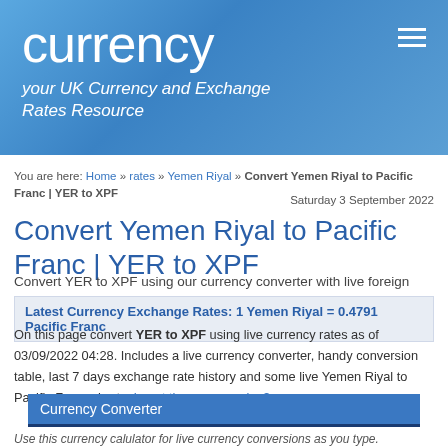currency — your UK Currency and Exchange Rates Resource
You are here: Home » rates » Yemen Riyal » Convert Yemen Riyal to Pacific Franc | YER to XPF
Saturday 3 September 2022
Convert Yemen Riyal to Pacific Franc | YER to XPF
Convert YER to XPF using our currency converter with live foreign exchange rates
Latest Currency Exchange Rates: 1 Yemen Riyal = 0.4791 Pacific Franc
On this page convert YER to XPF using live currency rates as of 03/09/2022 04:28. Includes a live currency converter, handy conversion table, last 7 days exchange rate history and some live Yemen Riyal to Pacific Franc charts. Invert these currencies?
Currency Converter
Use this currency calulator for live currency conversions as you type.